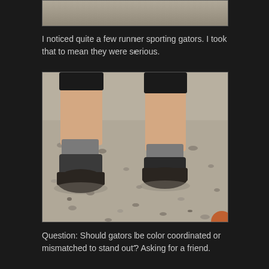[Figure (photo): Cropped top portion of a photo showing gravel ground, partially visible at top of page]
I noticed quite a few runner sporting gators. I took that to mean they were serious.
[Figure (photo): Photo of a runner's lower legs and feet wearing trail running shoes with gaiters, standing on gravel/dirt ground. Black compression shorts visible at top. Gray socks with dark gaiters covering the shoes.]
Question: Should gators be color coordinated or mismatched to stand out? Asking for a friend.